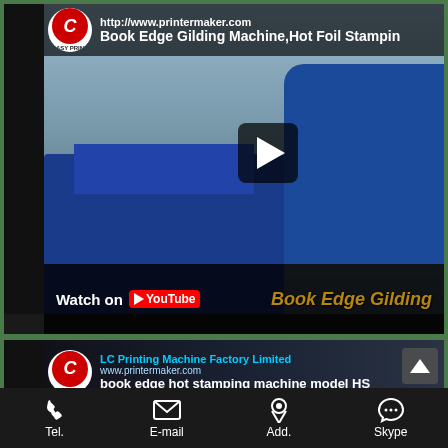[Figure (screenshot): YouTube video thumbnail showing a Book Edge Gilding Machine / Hot Foil Stamping machine being operated by a worker in blue shirt, with Easy Print logo, URL http://www.printermaker.com, title 'Book Edge Gilding Machine,Hot Foil Stamping', Watch on YouTube button, and 'Book Edge Gilding' text overlay]
[Figure (screenshot): Second YouTube video thumbnail showing LC Printing Machine Factory Limited, www.printermaker.com, 'book edge hot stamping machine model HS' title, partial view of machine, with scroll-up arrow]
Tel.  E-mail  Add.  Skype